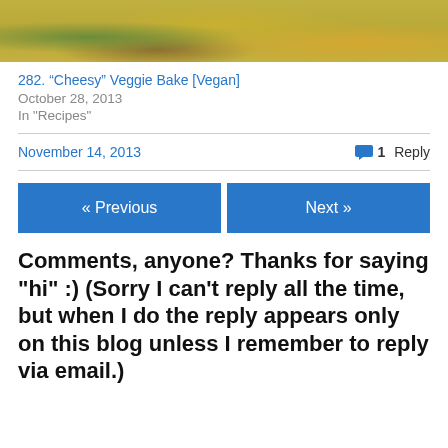[Figure (photo): Cropped top portion of a food photo showing cheesy vegetable bake dish with yellow/green tones]
282. “Cheesy” Veggie Bake [Vegan]
October 28, 2013
In "Recipes"
November 14, 2013
1 Reply
« Previous
Next »
Comments, anyone? Thanks for saying "hi" :) (Sorry I can't reply all the time, but when I do the reply appears only on this blog unless I remember to reply via email.)